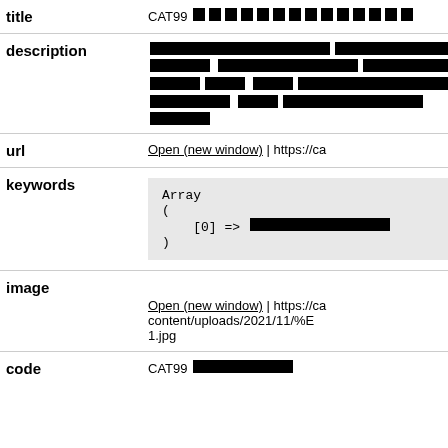| Field | Value |
| --- | --- |
| title | CAT99 [redacted] |
| description | [redacted multi-line text] |
| url | Open (new window) | https://ca... |
| keywords | Array
(
    [0] => [redacted]
) |
| image | Open (new window) | https://ca...content/uploads/2021/11/%E...1.jpg |
| code | CAT99 [redacted] |